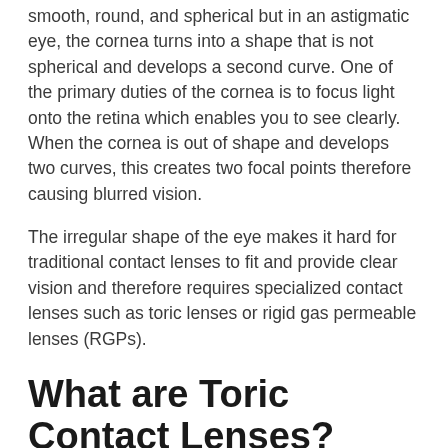smooth, round, and spherical but in an astigmatic eye, the cornea turns into a shape that is not spherical and develops a second curve. One of the primary duties of the cornea is to focus light onto the retina which enables you to see clearly. When the cornea is out of shape and develops two curves, this creates two focal points therefore causing blurred vision.
The irregular shape of the eye makes it hard for traditional contact lenses to fit and provide clear vision and therefore requires specialized contact lenses such as toric lenses or rigid gas permeable lenses (RGPs).
What are Toric Contact Lenses?
Toric contact lenses are designed to correct astigmatism and custom made to fit the eye of the